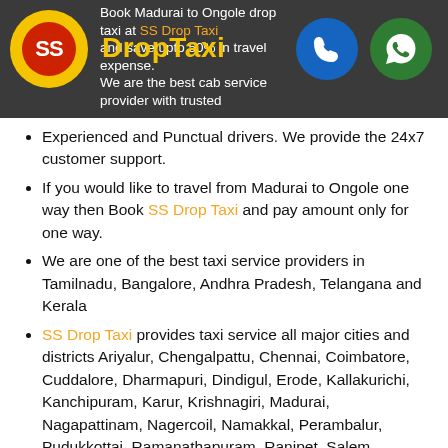[Figure (logo): SS Drop Taxi logo with yellow circle, red inner circle with SS text, brand name in yellow, phone call button in blue circle, WhatsApp button in green circle on dark grey header bar]
Book Madurai to Ongole drop taxi at SS Drop Taxi and save upto 50% in travel expense. We are the best cab service provider with trusted Experienced and Punctual drivers. We provide the 24x7 customer support.
If you would like to travel from Madurai to Ongole one way then Book SS Drop Taxi and pay amount only for one way.
We are one of the best taxi service providers in Tamilnadu, Bangalore, Andhra Pradesh, Telangana and Kerala
SS Drop Taxi provides taxi service all major cities and districts Ariyalur, Chengalpattu, Chennai, Coimbatore, Cuddalore, Dharmapuri, Dindigul, Erode, Kallakurichi, Kanchipuram, Karur, Krishnagiri, Madurai, Nagapattinam, Nagercoil, Namakkal, Perambalur, Pudukkottai, Ramanathapuram, Ranipet, Salem, Sivagangai, Tenkasi, Thanjavur,